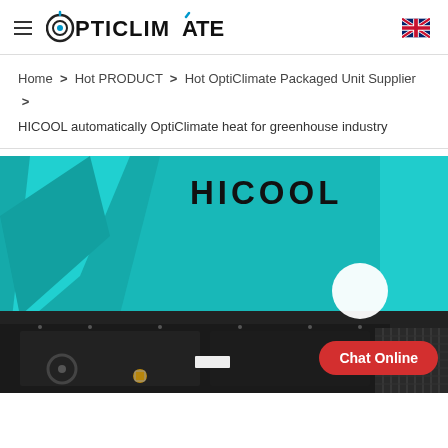OPTICLIMATE
Home > Hot PRODUCT > Hot OptiClimate Packaged Unit Supplier > HICOOL automatically OptiClimate heat for greenhouse industry
[Figure (photo): HICOOL branded HVAC packaged unit against teal geometric background with Chat Online button]